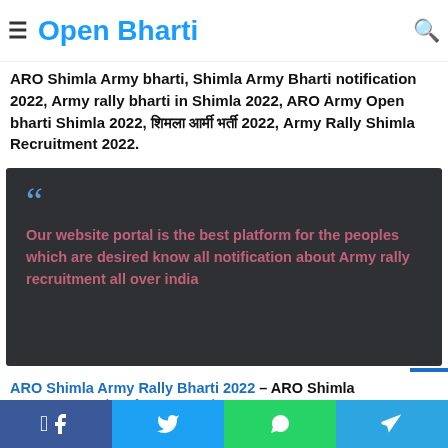Open Bharti
ARO Shimla Army Rally Bharti 2022, ARO Shimla Army Bharti 2022, ARO Shimla Army bharti, Shimla Army Bharti notification 2022, Army rally bharti in Shimla 2022, ARO Army Open bharti Shimla 2022, शिमला आर्मी भारती 2022, Army Rally Shimla Recruitment 2022.
[Figure (other): Dark grey quote box with blue quotation marks and pink/red bold text reading: Our website portal is the best platform for the peoples which are desired know all notification about Army rally recruitment all over india]
ARO Shimla Army Rally Bharti 2022 – ARO Shimla bharti 2022 यहाँ आर्मी भारती 2022 के बारे – Apply online for
Facebook | Twitter | WhatsApp | Telegram